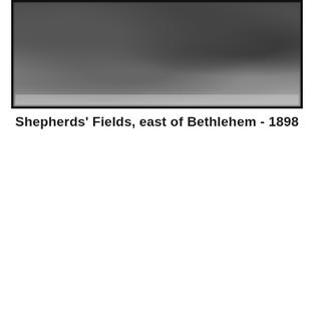[Figure (photo): A black and white historical photograph showing Shepherds' Fields east of Bethlehem, taken in 1898. The image shows an open landscape with some figures and vegetation visible.]
Shepherds' Fields, east of Bethlehem - 1898